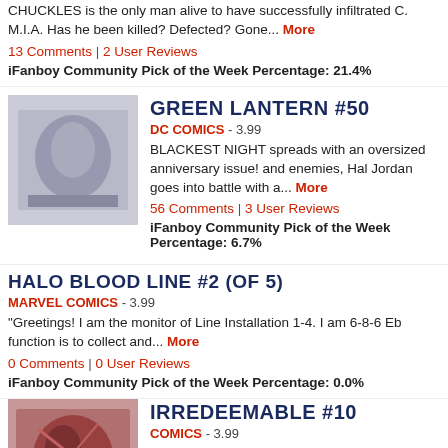CHUCKLES is the only man alive to have successfully infiltrated C. M.I.A. Has he been killed? Defected? Gone... More
13 Comments | 2 User Reviews
iFanboy Community Pick of the Week Percentage: 21.4%
[Figure (photo): Green Lantern #50 comic book cover thumbnail, grayscale]
GREEN LANTERN #50
DC COMICS - 3.99
BLACKEST NIGHT spreads with an oversized anniversary issue! and enemies, Hal Jordan goes into battle with a... More
56 Comments | 3 User Reviews
iFanboy Community Pick of the Week Percentage: 6.7%
HALO BLOOD LINE #2 (OF 5)
MARVEL COMICS - 3.99
"Greetings! I am the monitor of Line Installation 1-4. I am 6-8-6 Eb function is to collect and... More
0 Comments | 0 User Reviews
iFanboy Community Pick of the Week Percentage: 0.0%
[Figure (photo): Irredeemable #10 comic book cover thumbnail, reddish tones]
IRREDEEMABLE #10
COMICS - 3.99
Revealed at last–the secrets behind the Bette/Gilgamos/Plutonian just what brought Gilgamos to the Paradigm team originally–and...
26 Comments | 1 User Reviews
iFanboy Community Pick of the Week Percentage: 0.0%